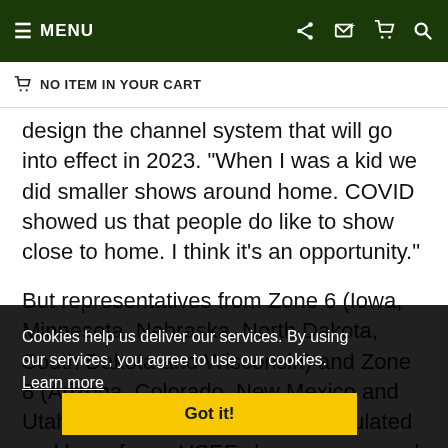MENU | NO ITEM IN YOUR CART
design the channel system that will go into effect in 2023. “When I was a kid we did smaller shows around home. COVID showed us that people do like to show close to home. I think it’s an opportunity.”
But representatives from Zone 6 (Iowa, Minnesota, Nebraska, North Dakota, South Dakota and Wisconsin) and Zone 8 (Arizona, Colorado, New Mexico and Utah), which are less densely populated and have fewer USEF shows, expressed trepidation about how the new system would affect the middle of the country in Sunday’s USHJA Zone Council meeting.
Cookies help us deliver our services. By using our services, you agree to use our cookies. Learn more
Got it!